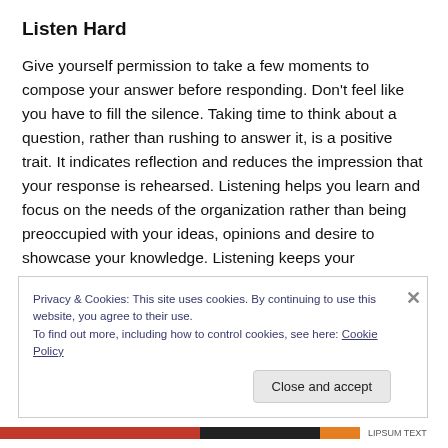Listen Hard
Give yourself permission to take a few moments to compose your answer before responding.  Don't feel like you have to fill the silence.  Taking time to think about a question, rather than rushing to answer it, is a positive trait.  It indicates reflection and reduces the impression that your response is rehearsed.  Listening helps you learn and focus on the needs of the organization rather than being preoccupied with your ideas, opinions and desire to showcase your knowledge.  Listening keeps your
Privacy & Cookies: This site uses cookies. By continuing to use this website, you agree to their use.
To find out more, including how to control cookies, see here: Cookie Policy
Close and accept